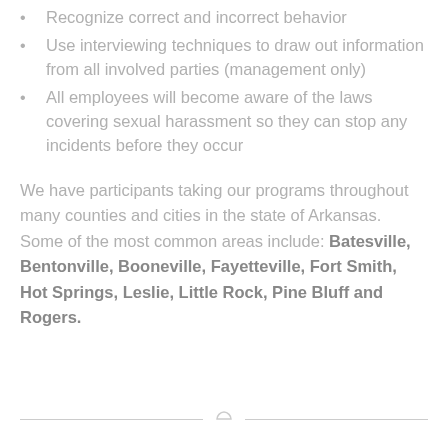Recognize correct and incorrect behavior
Use interviewing techniques to draw out information from all involved parties (management only)
All employees will become aware of the laws covering sexual harassment so they can stop any incidents before they occur
We have participants taking our programs throughout many counties and cities in the state of Arkansas. Some of the most common areas include: Batesville, Bentonville, Booneville, Fayetteville, Fort Smith, Hot Springs, Leslie, Little Rock, Pine Bluff and Rogers.